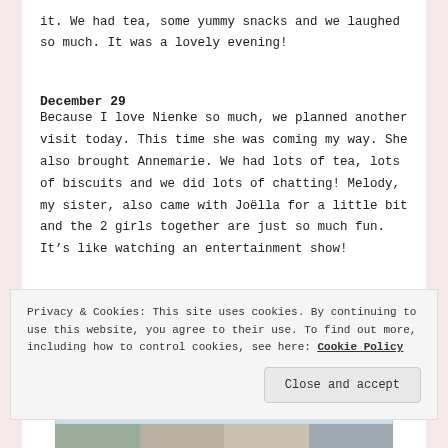it. We had tea, some yummy snacks and we laughed so much. It was a lovely evening!
December 29
Because I love Nienke so much, we planned another visit today. This time she was coming my way. She also brought Annemarie. We had lots of tea, lots of biscuits and we did lots of chatting! Melody, my sister, also came with Joëlla for a little bit and the 2 girls together are just so much fun. It’s like watching an entertainment show!
[Figure (photo): Partially visible photo area with light blue background and a strip of photographs at the bottom]
Privacy & Cookies: This site uses cookies. By continuing to use this website, you agree to their use. To find out more, including how to control cookies, see here: Cookie Policy
Close and accept